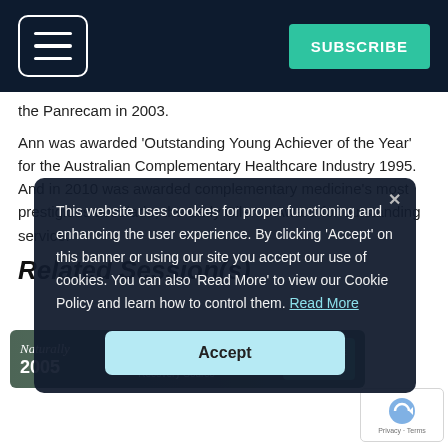Navigation bar with hamburger menu and SUBSCRIBE button
the Panrecam in 2003.
Ann was awarded 'Outstanding Young Achiever of the Year' for the Australian Complementary Healthcare Industry 1995. And in 2010 was awarded complementary medicine's most prestigious accolade, the Lady Cilento Award for outstanding service.
Related Session(s)
[Figure (other): Cookie consent overlay popup with dark background displaying message about cookie usage and an Accept button]
[Figure (other): Advertisement banner strip for a naturally-themed publication with Subscribe Now CTA button]